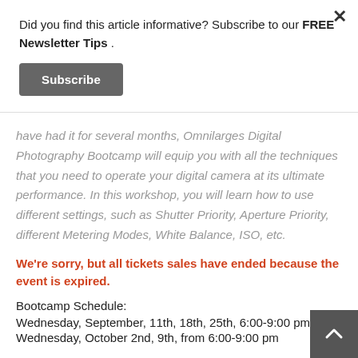Did you find this article informative? Subscribe to our FREE Newsletter Tips .
Subscribe
have had it for several months, Omnilarges Digital Photography Bootcamp will equip you with all the techniques that you need to operate your digital camera at its ultimate performance. In this workshop, you will learn how to use different settings, such as Shutter Priority, Aperture Priority, different Metering Modes, White Balance, ISO, etc.
We're sorry, but all tickets sales have ended because the event is expired.
Bootcamp Schedule:
Wednesday, September, 11th, 18th, 25th, 6:00-9:00 pm
Wednesday, October 2nd, 9th, from 6:00-9:00 pm